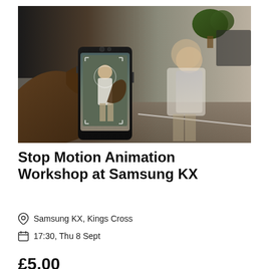[Figure (photo): A person holding a Samsung smartphone photographing a young woman standing in a modern retail/showroom space. The phone screen shows the woman on the camera viewfinder. Indoor setting with plants and cars visible in the background.]
Stop Motion Animation Workshop at Samsung KX
Samsung KX, Kings Cross
17:30, Thu 8 Sept
£5.00